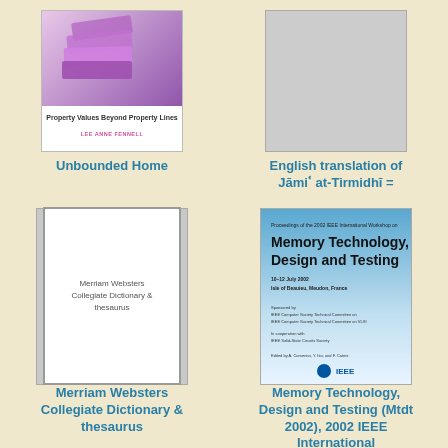[Figure (photo): Book cover: Unbounded Home by Lee Anne Pennell, purple/pink gradient cover]
Unbounded Home
[Figure (photo): Book cover placeholder: gray rectangle]
English translation of Jāmiʿ at-Tirmidhī =
[Figure (photo): Book cover: Merriam Websters Collegiate Dictionary & thesaurus, gray cover with white inner border]
Merriam Websters Collegiate Dictionary & thesaurus
[Figure (photo): Book cover: Memory Technology, Design and Testing (Mtdt 2002), 2002 IEEE International, blue gradient cover]
Memory Technology, Design and Testing (Mtdt 2002), 2002 IEEE International